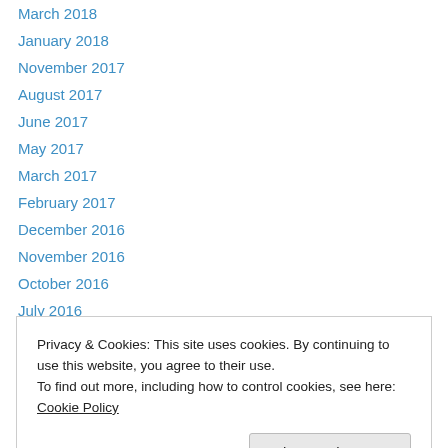March 2018
January 2018
November 2017
August 2017
June 2017
May 2017
March 2017
February 2017
December 2016
November 2016
October 2016
July 2016
April 2016
Privacy & Cookies: This site uses cookies. By continuing to use this website, you agree to their use.
To find out more, including how to control cookies, see here: Cookie Policy
September 2015